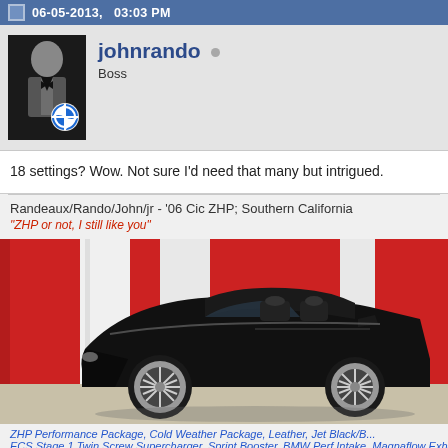06-05-2013, 03:03 PM
johnrando  Boss
18 settings? Wow. Not sure I'd need that many but intrigued.
Randeaux/Rando/John/jr - '06 Cic ZHP; Southern California
"ZHP or not, I still like you"
[Figure (photo): Black BMW convertible car (E46 cabrio) parked in front of a red, white and red draped backdrop.]
ZHP Performance Package, Cold Weather Package, Leather, Jet Black/B... ECS Stage 1 Twin Screw Supercharger, Sprint Booster, BMW Perf Intake, Magnaflow Exhaust...